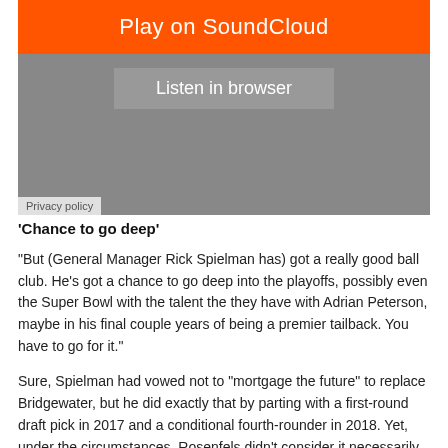[Figure (screenshot): SoundCloud embedded player widget with orange 'Play on SoundCloud' button, gray 'Listen in browser' button, and a 'Privacy policy' label at the bottom left]
'Chance to go deep'
“But (General Manager Rick Spielman has) got a really good ball club. He’s got a chance to go deep into the playoffs, possibly even the Super Bowl with the talent the they have with Adrian Peterson, maybe in his final couple years of being a premier tailback. You have to go for it.”
Sure, Spielman had vowed not to “mortgage the future” to replace Bridgewater, but he did exactly that by parting with a first-round draft pick in 2017 and a conditional fourth-rounder in 2018. Yet, under the circumstances, Rosenfels didn’t consider it necessarily a ridiculous price.